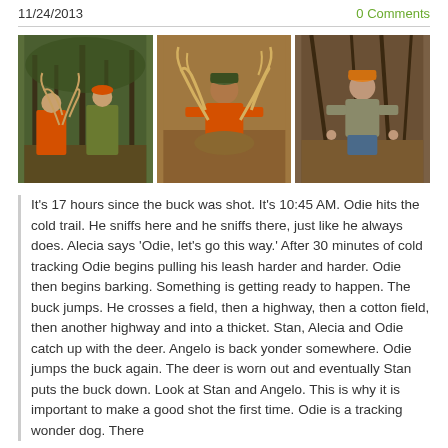11/24/2013
0 Comments
[Figure (photo): Three hunting photos side by side: left shows two hunters in orange and camo kneeling with a harvested deer in a forest; center shows a man in an orange shirt kneeling with a large buck's antlers; right shows an older man kneeling in a wooded area.]
It's 17 hours since the buck was shot. It's 10:45 AM. Odie hits the cold trail. He sniffs here and he sniffs there, just like he always does. Alecia says 'Odie, let's go this way.' After 30 minutes of cold tracking Odie begins pulling his leash harder and harder. Odie then begins barking. Something is getting ready to happen. The buck jumps. He crosses a field, then a highway, then a cotton field, then another highway and into a thicket. Stan, Alecia and Odie catch up with the deer. Angelo is back yonder somewhere. Odie jumps the buck again. The deer is worn out and eventually Stan puts the buck down. Look at Stan and Angelo. This is why it is important to make a good shot the first time. Odie is a tracking wonder dog. There